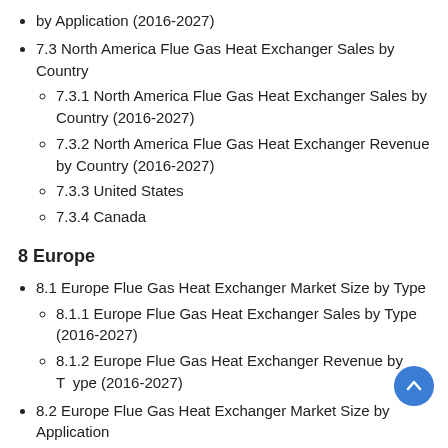by Application (2016-2027)
7.3 North America Flue Gas Heat Exchanger Sales by Country
7.3.1 North America Flue Gas Heat Exchanger Sales by Country (2016-2027)
7.3.2 North America Flue Gas Heat Exchanger Revenue by Country (2016-2027)
7.3.3 United States
7.3.4 Canada
8 Europe
8.1 Europe Flue Gas Heat Exchanger Market Size by Type
8.1.1 Europe Flue Gas Heat Exchanger Sales by Type (2016-2027)
8.1.2 Europe Flue Gas Heat Exchanger Revenue by Type (2016-2027)
8.2 Europe Flue Gas Heat Exchanger Market Size by Application
8.2.1 Europe Flue Gas Heat Exchanger Sales by